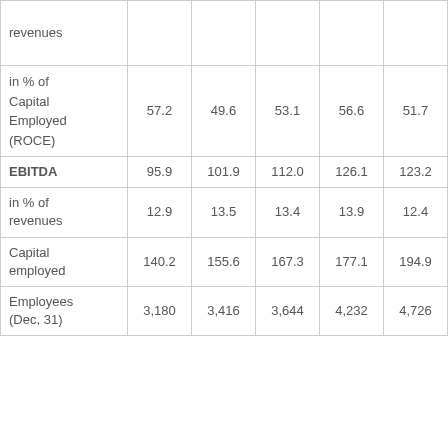| revenues |  |  |  |  |  |
| in % of Capital Employed (ROCE) | 57.2 | 49.6 | 53.1 | 56.6 | 51.7 |
| EBITDA | 95.9 | 101.9 | 112.0 | 126.1 | 123.2 |
| in % of revenues | 12.9 | 13.5 | 13.4 | 13.9 | 12.4 |
| Capital employed | 140.2 | 155.6 | 167.3 | 177.1 | 194.9 |
| Employees (Dec, 31) | 3,180 | 3,416 | 3,644 | 4,232 | 4,726 |